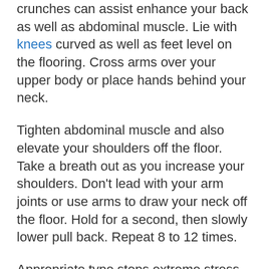crunches can assist enhance your back as well as abdominal muscle. Lie with knees curved as well as feet level on the flooring. Cross arms over your upper body or place hands behind your neck.
Tighten abdominal muscle and also elevate your shoulders off the floor. Take a breath out as you increase your shoulders. Don’t lead with your arm joints or use arms to draw your neck off the floor. Hold for a second, then slowly lower pull back. Repeat 8 to 12 times.
Appropriate type stops extreme stress and anxiety on your low back. Your feet, tailbone, and also lower back need to continue to be